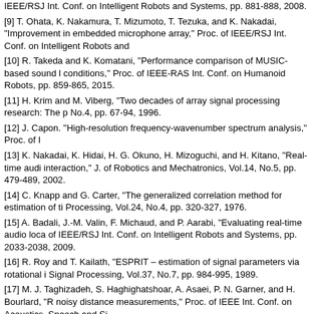IEEE/RSJ Int. Conf. on Intelligent Robots and Systems, pp. 881-888, 2008.
[9] T. Ohata, K. Nakamura, T. Mizumoto, T. Tezuka, and K. Nakadai, “Improvement in embedded microphone array,” Proc. of IEEE/RSJ Int. Conf. on Intelligent Robots and
[10] R. Takeda and K. Komatani, “Performance comparison of MUSIC-based sound l conditions,” Proc. of IEEE-RAS Int. Conf. on Humanoid Robots, pp. 859-865, 2015.
[11] H. Krim and M. Viberg, “Two decades of array signal processing research: The p No.4, pp. 67-94, 1996.
[12] J. Capon. “High-resolution frequency-wavenumber spectrum analysis,” Proc. of I
[13] K. Nakadai, K. Hidai, H. G. Okuno, H. Mizoguchi, and H. Kitano, “Real-time audi interaction,” J. of Robotics and Mechatronics, Vol.14, No.5, pp. 479-489, 2002.
[14] C. Knapp and G. Carter, “The generalized correlation method for estimation of ti Processing, Vol.24, No.4, pp. 320-327, 1976.
[15] A. Badali, J.-M. Valin, F. Michaud, and P. Aarabi, “Evaluating real-time audio loca of IEEE/RSJ Int. Conf. on Intelligent Robots and Systems, pp. 2033-2038, 2009.
[16] R. Roy and T. Kailath, “ESPRIT – estimation of signal parameters via rotational i Signal Processing, Vol.37, No.7, pp. 984-995, 1989.
[17] M. J. Taghizadeh, S. Haghighatshoar, A. Asaei, P. N. Garner, and H. Bourlard, “R noisy distance measurements,” Proc. of IEEE Int. Conf. on Acoustics, Speech and Si
[18] R. Takeda, K. Nakadai, K. Komatani, T. Ogata, and H. G. Okuno, “Exploiting kno speech separation and recognition,” Proc. of IEEE/RSJ Int. Conf. on Intelligent Robo
[19] T. Nakatani, T. Yoshioka, K. Kinoshita, M. Miyoshi, and B.-H. Juang based on short time Fourier transform representation,” Proc. of IEEE In
[20] S. Argentieri and P. Danes, “Broadband variations of the music high-resolution m